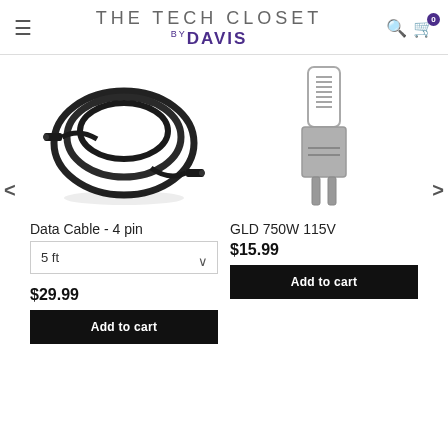THE TECH CLOSET BY DAVIS
[Figure (photo): Black coiled data cable with connectors on each end]
[Figure (photo): GLD 750W 115V halogen lamp / bulb with GY9.5 base]
Data Cable - 4 pin
5 ft
$29.99
Add to cart
GLD 750W 115V
$15.99
Add to cart